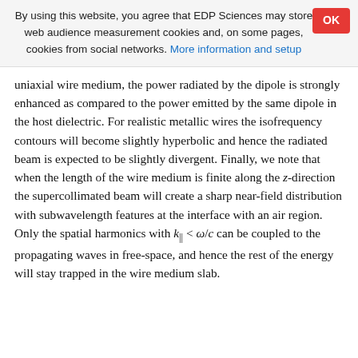By using this website, you agree that EDP Sciences may store web audience measurement cookies and, on some pages, cookies from social networks. More information and setup
uniaxial wire medium, the power radiated by the dipole is strongly enhanced as compared to the power emitted by the same dipole in the host dielectric. For realistic metallic wires the isofrequency contours will become slightly hyperbolic and hence the radiated beam is expected to be slightly divergent. Finally, we note that when the length of the wire medium is finite along the z-direction the supercollimated beam will create a sharp near-field distribution with subwavelength features at the interface with an air region. Only the spatial harmonics with k|| < ω/c can be coupled to the propagating waves in free-space, and hence the rest of the energy will stay trapped in the wire medium slab.